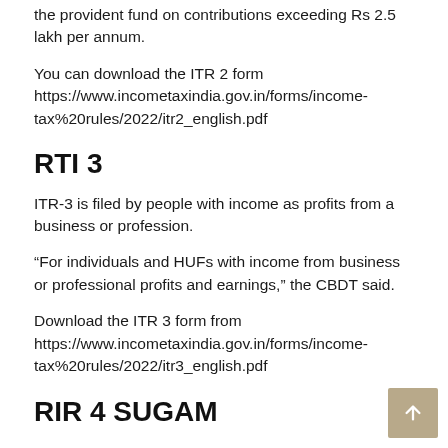the provident fund on contributions exceeding Rs 2.5 lakh per annum.
You can download the ITR 2 form https://www.incometaxindia.gov.in/forms/income-tax%20rules/2022/itr2_english.pdf
RTI 3
ITR-3 is filed by people with income as profits from a business or profession.
“For individuals and HUFs with income from business or professional profits and earnings,” the CBDT said.
Download the ITR 3 form from https://www.incometaxindia.gov.in/forms/income-tax%20rules/2022/itr3_english.pdf
RIR 4 SUGAM